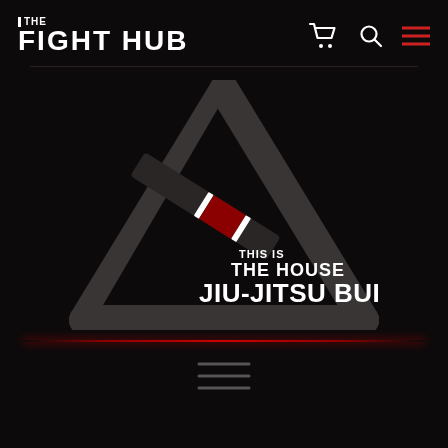THE FIGHT HUB
[Figure (logo): Triangle logo made of dark grey angular bar shapes with a BJJ belt (dark with red stripe) across the left side. Text reads 'THIS IS THE HOUSE JIU-JITSU BUILT' in white bold font inside the triangle.]
[Figure (illustration): Three horizontal red lines (hamburger menu icon) at bottom center of page]